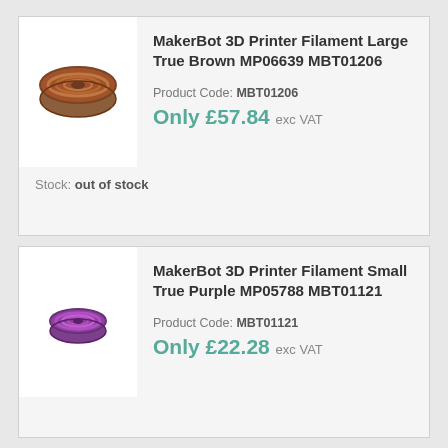[Figure (photo): Brown filament spool for MakerBot 3D printer]
MakerBot 3D Printer Filament Large True Brown MP06639 MBT01206
Product Code: MBT01206
Only £57.84 exc VAT
Stock: out of stock
[Figure (photo): Purple filament spool for MakerBot 3D printer]
MakerBot 3D Printer Filament Small True Purple MP05788 MBT01121
Product Code: MBT01121
Only £22.28 exc VAT